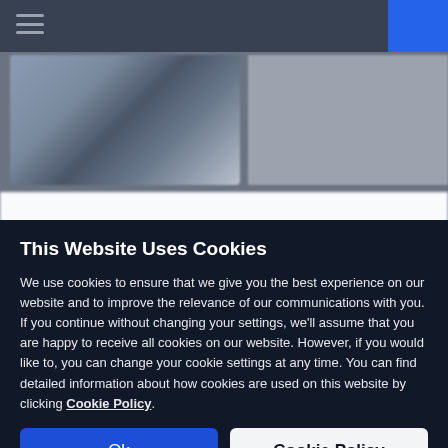[Figure (screenshot): Blurred website background showing a vehicle listing page with dark top navigation bar, a car image on the left, and listing details on the right]
This Website Uses Cookies
We use cookies to ensure that we give you the best experience on our website and to improve the relevance of our communications with you. If you continue without changing your settings, we'll assume that you are happy to receive all cookies on our website. However, if you would like to, you can change your cookie settings at any time. You can find detailed information about how cookies are used on this website by clicking Cookie Policy.
Ok
Cookie Policy